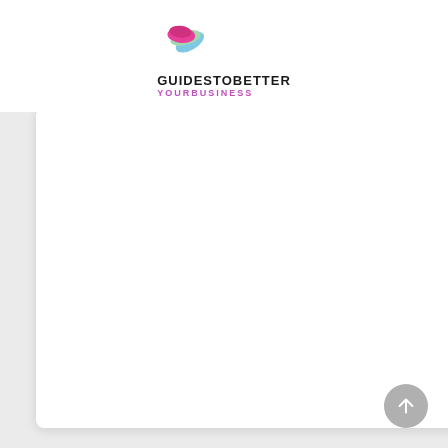[Figure (logo): GuidesToBetter YourBusiness logo with colorful stacked pages icon above bold text GUIDESTOBETTER and pink YOURBUSINESS subtitle]
Artificial Intelligence In Digital Marketing E-Book
KSh5,642.95
Add to cart